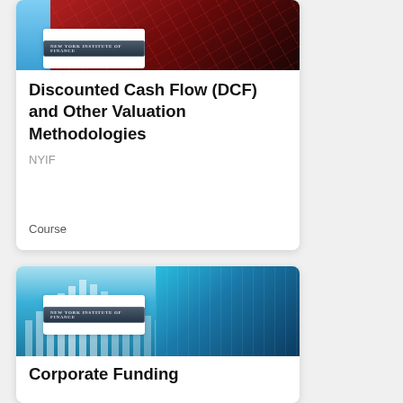[Figure (screenshot): Course card image for DCF course — left blue strip, right dark red network graphic with NYIF logo box]
Discounted Cash Flow (DCF) and Other Valuation Methodologies
NYIF
Course
[Figure (screenshot): Course card image for Corporate Funding course — teal/blue bar chart and city skyline graphic with NYIF logo box]
Corporate Funding